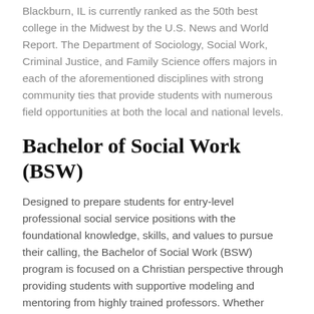Blackburn, IL is currently ranked as the 50th best college in the Midwest by the U.S. News and World Report. The Department of Sociology, Social Work, Criminal Justice, and Family Science offers majors in each of the aforementioned disciplines with strong community ties that provide students with numerous field opportunities at both the local and national levels.
Bachelor of Social Work (BSW)
Designed to prepare students for entry-level professional social service positions with the foundational knowledge, skills, and values to pursue their calling, the Bachelor of Social Work (BSW) program is focused on a Christian perspective through providing students with supportive modeling and mentoring from highly trained professors. Whether students are interested in working with children, adults, families, or individuals with mental health concerns, the program exposes students to a minimum of four populations in need through three mini-internships and one